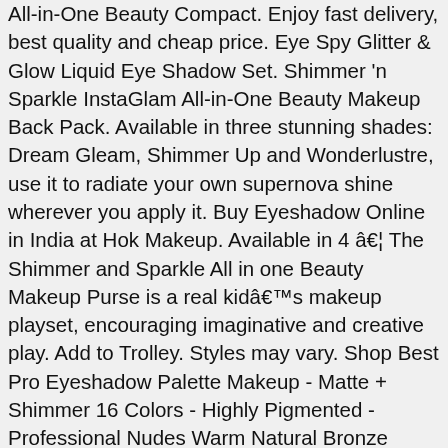All-in-One Beauty Compact. Enjoy fast delivery, best quality and cheap price. Eye Spy Glitter & Glow Liquid Eye Shadow Set. Shimmer 'n Sparkle InstaGlam All-in-One Beauty Makeup Back Pack. Available in three stunning shades: Dream Gleam, Shimmer Up and Wonderlustre, use it to radiate your own supernova shine wherever you apply it. Buy Eyeshadow Online in India at Hok Makeup. Available in 4 â€¦ The Shimmer and Sparkle All in one Beauty Makeup Purse is a real kidâ€™s makeup playset, encouraging imaginative and creative play. Add to Trolley. Styles may vary. Shop Best Pro Eyeshadow Palette Makeup - Matte + Shimmer 16 Colors - Highly Pigmented - Professional Nudes Warm Natural Bronze Neutral Smoky Cosmetic Eye Shadows - Lamora Exposed at Amazon UKâ€™s Beauty Shop. Tell us where you are to check stock: Check. The Shimmer and Sparkle All in One Beauty Makeup Tote includes real makeup and mirror for kids to create their own beauty style! Apply moisturiser to give your face an airbrushed look. Customer reviews. Online shopping a variety of best shimmer makeup at DHgate.com. Use the Revolution Body Brush to blend and buff into the collarbones,